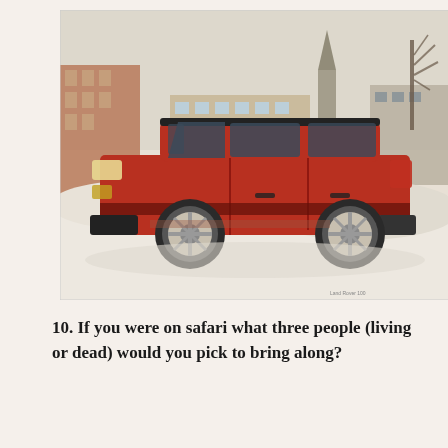[Figure (photo): A red Land Rover Discovery SUV parked in snow, viewed from the side. Background shows urban buildings, a church steeple, and bare winter trees under an overcast sky.]
10. If you were on safari what three people (living or dead) would you pick to bring along?